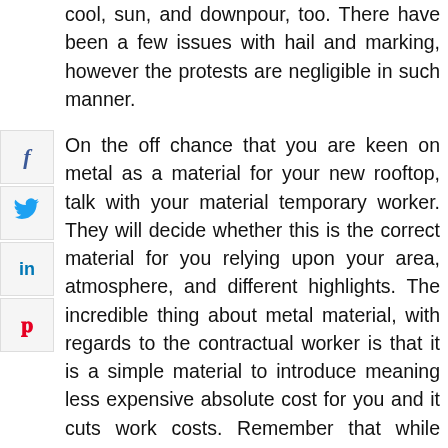cool, sun, and downpour, too. There have been a few issues with hail and marking, however the protests are negligible in such manner.
On the off chance that you are keen on metal as a material for your new rooftop, talk with your material temporary worker. They will decide whether this is the correct material for you relying upon your area, atmosphere, and different highlights. The incredible thing about metal material, with regards to the contractual worker is that it is a simple material to introduce meaning less expensive absolute cost for you and it cuts work costs. Remember that while metal material is a solid material and one that